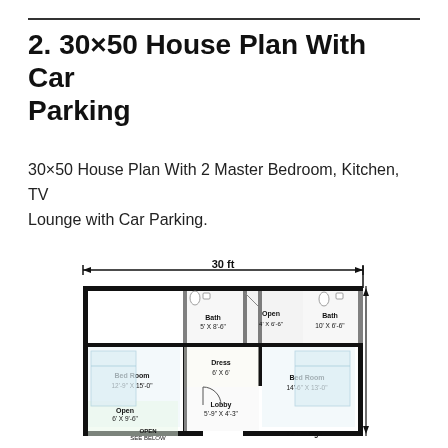2. 30×50 House Plan With Car Parking
30×50 House Plan With 2 Master Bedroom, Kitchen, TV Lounge with Car Parking.
[Figure (engineering-diagram): Floor plan of a 30×50 ft house with Car Parking showing 2 Bed Rooms (12'-9" X 15'-0" and 14'-6" X 13'-0"), Bath (5' X 8'-6" and 10' X 6'-6"), Dress 6' X 6', Open 4' X 6'-6', Lobby 5'-9" X 4'-3', Open 6' X 9'-6', OPEN SEE BELOW, TV Lounge. A dimension arrow showing 30 ft width across the top.]